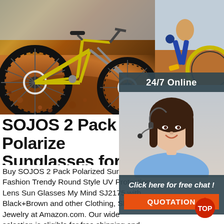[Figure (photo): Mountain bike action shot with dirt and dust flying, yellow bike frame visible, left two-thirds of hero image]
[Figure (photo): Cyclist on yellow mountain bike on right side, sky and terrain background]
[Figure (photo): Customer service representative woman wearing headset, smiling, with 24/7 Online label and chat panel overlay]
SOJOS 2 Pack Polarize Sunglasses for Women
Buy SOJOS 2 Pack Polarized Sunglasses Fashion Trendy Round Style UV Protection Lens Sun Glasses My Mind SJ2175 with Black+Brown and other Clothing, Shoes & Jewelry at Amazon.com. Our wide selection is eligible for free shipping and free returns.